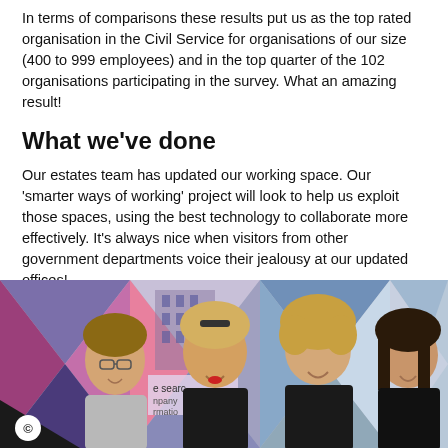In terms of comparisons these results put us as the top rated organisation in the Civil Service for organisations of our size (400 to 999 employees) and in the top quarter of the 102 organisations participating in the survey. What an amazing result!
What we've done
Our estates team has updated our working space. Our 'smarter ways of working' project will look to help us exploit those spaces, using the best technology to collaborate more effectively. It's always nice when visitors from other government departments voice their jealousy at our updated offices!
[Figure (photo): Group photo of four women smiling, standing in front of a colorful geometric background with purple, blue, pink and grey triangles. A copyright badge with 'c' is visible in the lower left corner.]